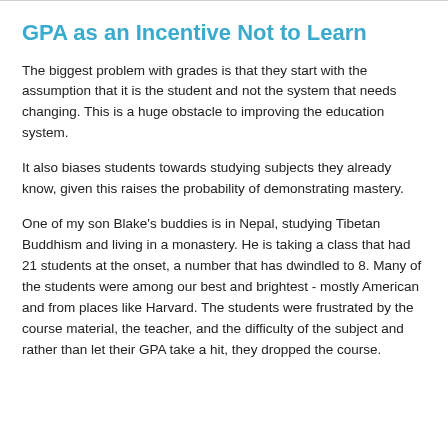GPA as an Incentive Not to Learn
The biggest problem with grades is that they start with the assumption that it is the student and not the system that needs changing. This is a huge obstacle to improving the education system.
It also biases students towards studying subjects they already know, given this raises the probability of demonstrating mastery.
One of my son Blake's buddies is in Nepal, studying Tibetan Buddhism and living in a monastery. He is taking a class that had 21 students at the onset, a number that has dwindled to 8. Many of the students were among our best and brightest - mostly American and from places like Harvard. The students were frustrated by the course material, the teacher, and the difficulty of the subject and rather than let their GPA take a hit, they dropped the course.